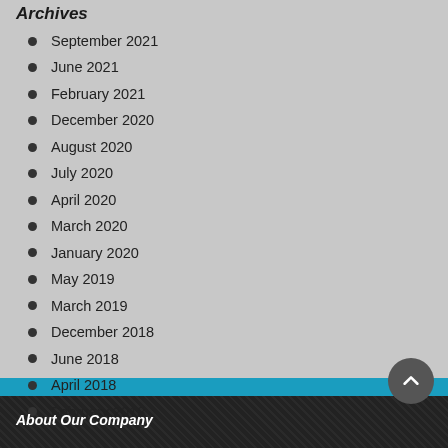Archives
September 2021
June 2021
February 2021
December 2020
August 2020
July 2020
April 2020
March 2020
January 2020
May 2019
March 2019
December 2018
June 2018
April 2018
February 2018
About Our Company